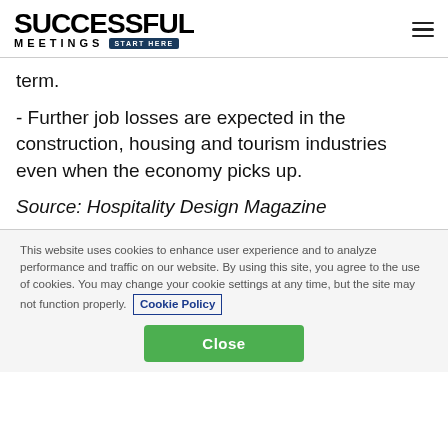SUCCESSFUL MEETINGS START HERE
term.
- Further job losses are expected in the construction, housing and tourism industries even when the economy picks up.
Source: Hospitality Design Magazine
This website uses cookies to enhance user experience and to analyze performance and traffic on our website. By using this site, you agree to the use of cookies. You may change your cookie settings at any time, but the site may not function properly.  Cookie Policy
Close